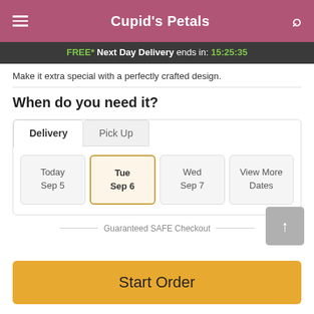Cupid's Petals
FREE* Next Day Delivery ends in: 15:25:35
Make it extra special with a perfectly crafted design.
When do you need it?
Delivery | Pick Up
Today Sep 5 | Tue Sep 6 | Wed Sep 7 | View More Dates
Guaranteed SAFE Checkout
Start Order